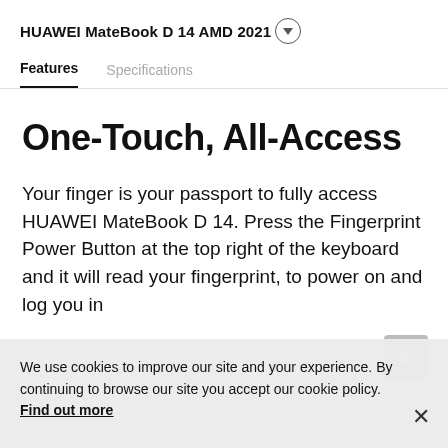HUAWEI MateBook D 14 AMD 2021
Features	Specifications
One-Touch, All-Access
Your finger is your passport to fully access HUAWEI MateBook D 14. Press the Fingerprint Power Button at the top right of the keyboard and it will read your fingerprint, to power on and log you in
We use cookies to improve our site and your experience. By continuing to browse our site you accept our cookie policy. Find out more